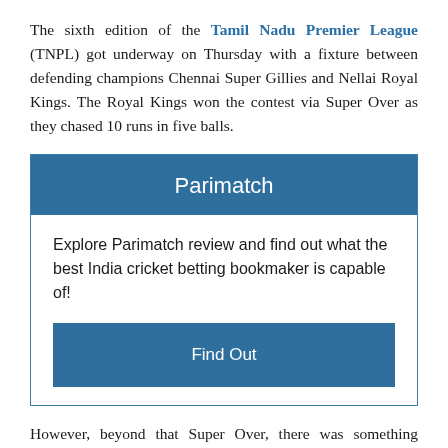The sixth edition of the Tamil Nadu Premier League (TNPL) got underway on Thursday with a fixture between defending champions Chennai Super Gillies and Nellai Royal Kings. The Royal Kings won the contest via Super Over as they chased 10 runs in five balls.
[Figure (other): Parimatch advertisement box with header 'Parimatch', body text 'Explore Parimatch review and find out what the best India cricket betting bookmaker is capable of!', and a 'Find Out' button.]
However, beyond that Super Over, there was something dramatic that happened in the field which generated more attractions. During the fourth over of the Super Giles, bowled by Baba Aparajith, Narayan Jagadeesan did an indecent gesture with his finger. The veteran Tamil